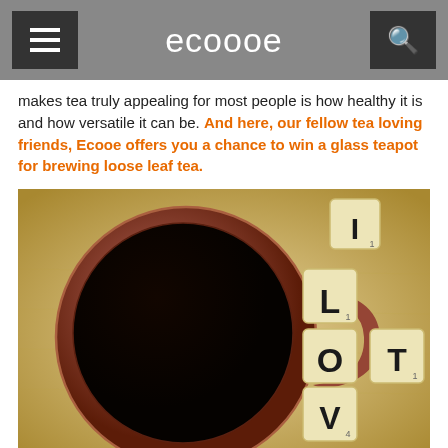ecooe
makes tea truly appealing for most people is how healthy it is and how versatile it can be. And here, our fellow tea loving friends, Ecooe offers you a chance to win a glass teapot for brewing loose leaf tea.
[Figure (photo): Overhead view of a dark tea-filled mug with a brown handle, next to Scrabble tiles spelling I LOVE TEA arranged vertically on a warm beige background.]